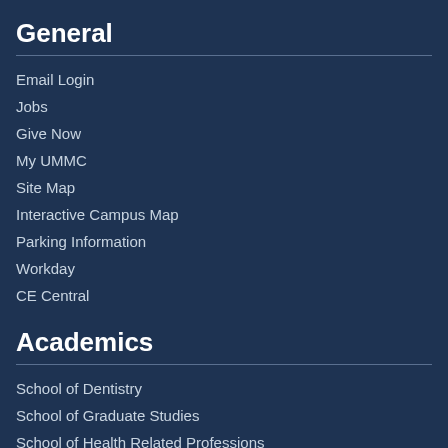General
Email Login
Jobs
Give Now
My UMMC
Site Map
Interactive Campus Map
Parking Information
Workday
CE Central
Academics
School of Dentistry
School of Graduate Studies
School of Health Related Professions
School of Medicine